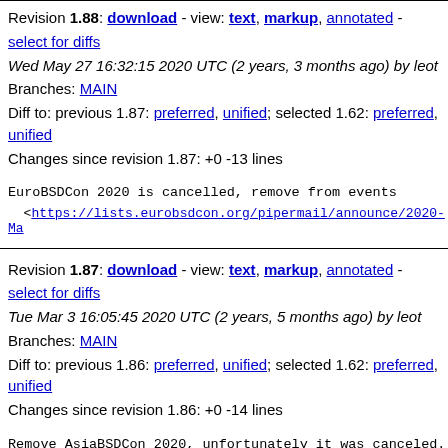Revision 1.88: download - view: text, markup, annotated - select for diffs
Wed May 27 16:32:15 2020 UTC (2 years, 3 months ago) by leot
Branches: MAIN
Diff to: previous 1.87: preferred, unified; selected 1.62: preferred, unified
Changes since revision 1.87: +0 -13 lines
EuroBSDCon 2020 is cancelled, remove from events

<https://lists.eurobsdcon.org/pipermail/announce/2020-Ma
Revision 1.87: download - view: text, markup, annotated - select for diffs
Tue Mar 3 16:05:45 2020 UTC (2 years, 5 months ago) by leot
Branches: MAIN
Diff to: previous 1.86: preferred, unified; selected 1.62: preferred, unified
Changes since revision 1.86: +0 -14 lines
Remove AsiaBSDCon 2020, unfortunately it was canceled.

Directly quoting the ABC web site:

> Due to increasing risk of the coronavirus disease (COVI